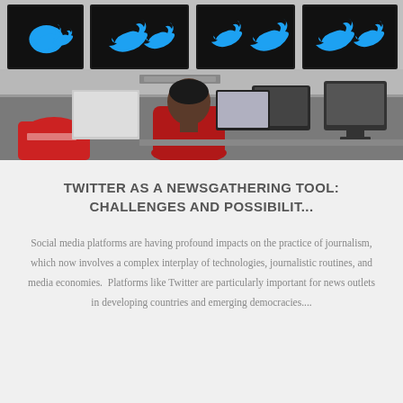[Figure (photo): Person sitting at a desk with computer monitors displaying Twitter logos on screens mounted on wall above]
TWITTER AS A NEWSGATHERING TOOL: CHALLENGES AND POSSIBILIT...
Social media platforms are having profound impacts on the practice of journalism, which now involves a complex interplay of technologies, journalistic routines, and media economies.  Platforms like Twitter are particularly important for news outlets in developing countries and emerging democracies....